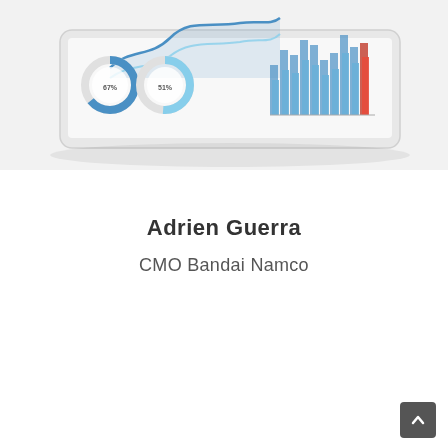[Figure (illustration): A tablet device displaying 3D bar charts, line charts, and donut/pie charts floating above it in a light gray background — a data analytics dashboard illustration.]
Adrien Guerra
CMO Bandai Namco